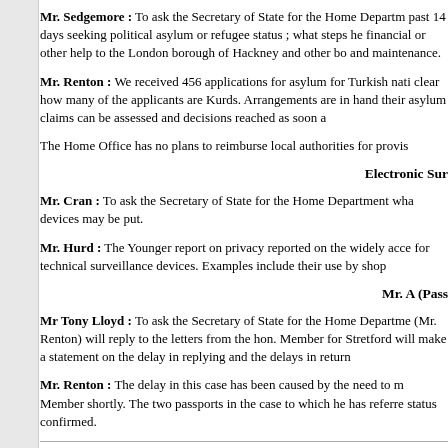Mr. Sedgemore : To ask the Secretary of State for the Home Department past 14 days seeking political asylum or refugee status ; what steps he financial or other help to the London borough of Hackney and other bo and maintenance.
Mr. Renton : We received 456 applications for asylum for Turkish nati clear how many of the applicants are Kurds. Arrangements are in han their asylum claims can be assessed and decisions reached as soon a
The Home Office has no plans to reimburse local authorities for provis
Electronic Sur
Mr. Cran : To ask the Secretary of State for the Home Department wha devices may be put.
Mr. Hurd : The Younger report on privacy reported on the widely acce for technical surveillance devices. Examples include their use by shop
Mr. A (Pass
Mr Tony Lloyd : To ask the Secretary of State for the Home Departme (Mr. Renton) will reply to the letters from the hon. Member for Stretford will make a statement on the delay in replying and the delays in return
Mr. Renton : The delay in this case has been caused by the need to m Member shortly. The two passports in the case to which he has referre status confirmed.